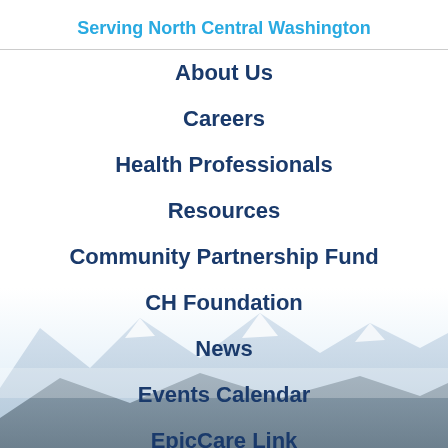Serving North Central Washington
About Us
Careers
Health Professionals
Resources
Community Partnership Fund
CH Foundation
News
Events Calendar
EpicCare Link
[Figure (illustration): Mountain landscape background with snow-capped peaks and misty sky, light blue-grey tones at the bottom of the page]